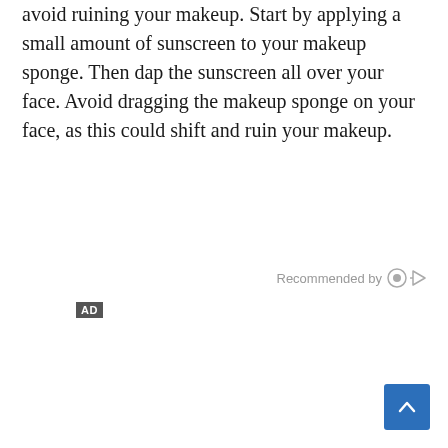avoid ruining your makeup. Start by applying a small amount of sunscreen to your makeup sponge. Then dap the sunscreen all over your face. Avoid dragging the makeup sponge on your face, as this could shift and ruin your makeup.
Recommended by
AD
[Figure (other): Back to top button — blue square with white upward chevron arrow]